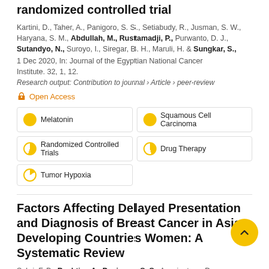randomized controlled trial
Kartini, D., Taher, A., Panigoro, S. S., Setiabudy, R., Jusman, S. W., Haryana, S. M., Abdullah, M., Rustamadji, P., Purwanto, D. J., Sutandyo, N., Suroyo, I., Siregar, B. H., Maruli, H. & Sungkar, S.
1 Dec 2020, In: Journal of the Egyptian National Cancer Institute. 32, 1, 12.
Research output: Contribution to journal › Article › peer-review
Open Access
Melatonin
Squamous Cell Carcinoma
Randomized Controlled Trials
Drug Therapy
Tumor Hypoxia
Factors Affecting Delayed Presentation and Diagnosis of Breast Cancer in Asian Developing Countries Women: A Systematic Review
Sobri, F. B., Bachtiar, A., Panigoro, S. S., Ayuningtyas, D., Gustada, H., Yuswar, P. W., Nur, A. A., Putri, R. C. R. A. &